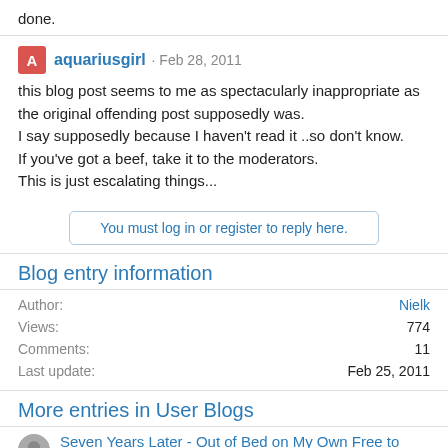done.
aquariusgirl · Feb 28, 2011
this blog post seems to me as spectacularly inappropriate as the original offending post supposedly was.
I say supposedly because I haven't read it ..so don't know.
If you've got a beef, take it to the moderators.
This is just escalating things...
You must log in or register to reply here.
Blog entry information
| Field | Value |
| --- | --- |
| Author: | Nielk |
| Views: | 774 |
| Comments: | 11 |
| Last update: | Feb 25, 2011 |
More entries in User Blogs
Seven Years Later - Out of Bed on My Own Free to Roam